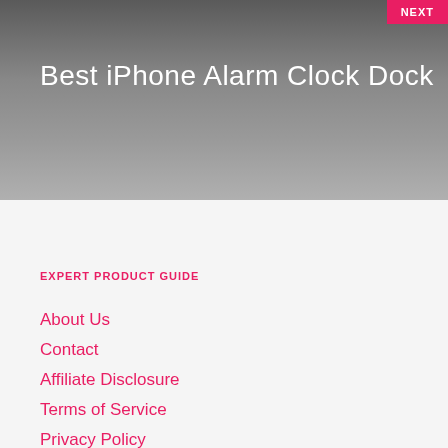[Figure (screenshot): Website header banner with dark gray gradient background]
Best iPhone Alarm Clock Dock
EXPERT PRODUCT GUIDE
About Us
Contact
Affiliate Disclosure
Terms of Service
Privacy Policy
Sitemap
Product Versus
Choose Products